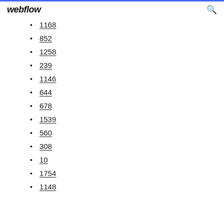webflow
1168
852
1258
239
1146
644
678
1539
560
308
10
1754
1148